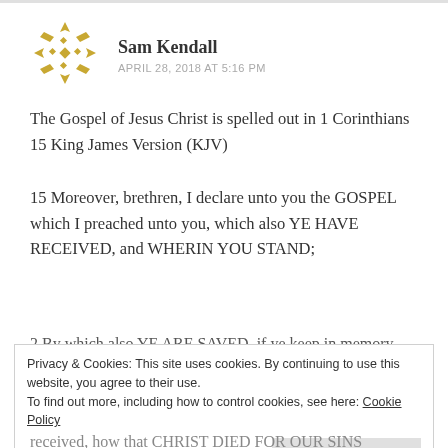[Figure (logo): Decorative geometric/floral avatar icon in gold/yellow color]
Sam Kendall
APRIL 28, 2018 AT 5:16 PM
The Gospel of Jesus Christ is spelled out in 1 Corinthians 15 King James Version (KJV)
15 Moreover, brethren, I declare unto you the GOSPEL which I preached unto you, which also YE HAVE RECEIVED, and WHERIN YOU STAND;
2 By which also YE ARE SAVED, if ye keep in memory
Privacy & Cookies: This site uses cookies. By continuing to use this website, you agree to their use.
To find out more, including how to control cookies, see here: Cookie Policy
Close and accept
received, how that CHRIST DIED FOR OUR SINS